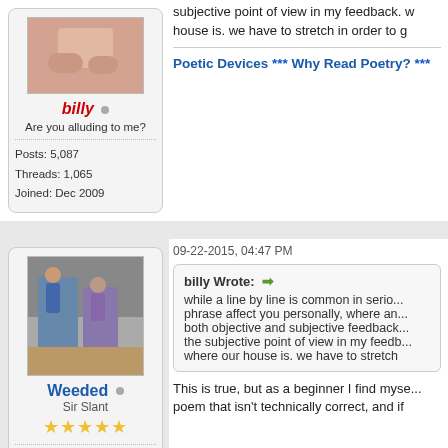subjective point of view in my feedback. house is. we have to stretch in order to g
Poetic Devices *** Why Read Poetry? ***
billy
Are you alluding to me?
Posts: 5,087
Threads: 1,065
Joined: Dec 2009
09-22-2015, 04:47 PM
billy Wrote: →
while a line by line is common in serio... phrase affect you personally, where an... both objective and subjective feedback... the subjective point of view in my feedb... where our house is. we have to stretch
Weeded
Sir Slant
Posts: 126
Threads: 32
Joined: Sep 2015
This is true, but as a beginner I find myse... poem that isn't technically correct, and if